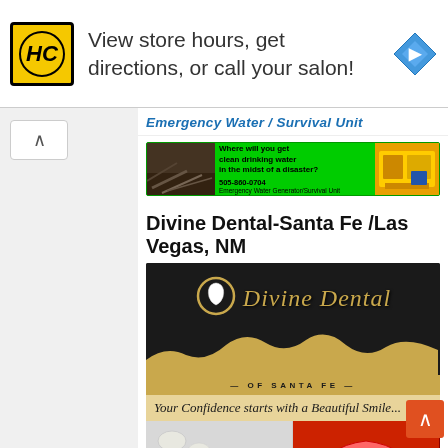[Figure (logo): HC logo yellow square with black border, navigation arrow diamond blue icon, ad text 'View store hours, get directions, or call your salon!']
Emergency Water / Survival Unit
[Figure (infographic): Green banner ad: 'Where will you get clean drinking water in the midst of a disaster? 505-860-0704 Emergency Water Generator/Survival Unit']
Divine Dental-Santa Fe /Las Vegas, NM
[Figure (photo): Divine Dental of Santa Fe advertisement image with gold logo, mountain silhouette, tagline 'Your Confidence starts with a Beautiful Smile...', dental implants and dentures photos]